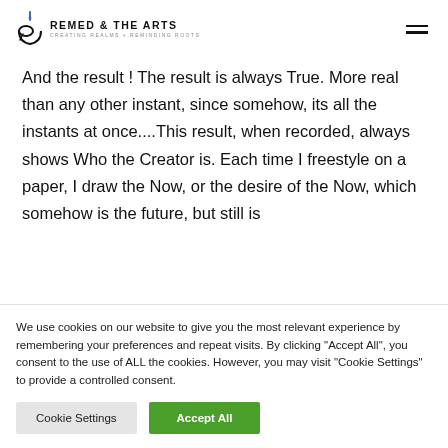REMED & THE ARTS — CREATING REALMS + REMINDING ROOTS
And the result ! The result is always True. More real than any other instant, since somehow, its all the instants at once....This result, when recorded, always shows Who the Creator is. Each time I freestyle on a paper, I draw the Now, or the desire of the Now, which somehow is the future, but still is
We use cookies on our website to give you the most relevant experience by remembering your preferences and repeat visits. By clicking "Accept All", you consent to the use of ALL the cookies. However, you may visit "Cookie Settings" to provide a controlled consent.